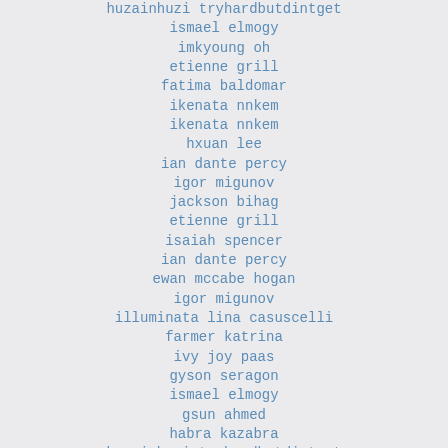huzainhuzi tryhardbutdintget
ismael elmogy
imkyoung oh
etienne grill
fatima baldomar
ikenata nnkem
ikenata nnkem
hxuan lee
ian dante percy
igor migunov
jackson bihag
etienne grill
isaiah spencer
ian dante percy
ewan mccabe hogan
igor migunov
illuminata lina casuscelli
farmer katrina
ivy joy paas
gyson seragon
ismael elmogy
gsun ahmed
habra kazabra
huzainhuzi tryhardbutdintget
ingrid segarra